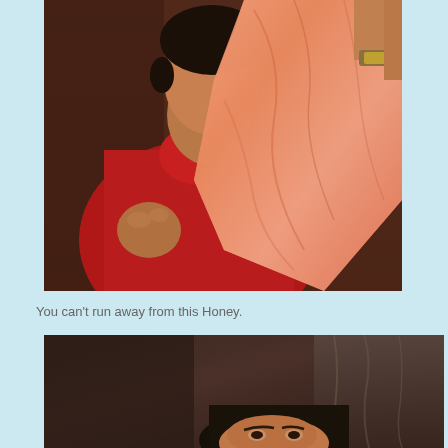[Figure (photo): A man in a red polo shirt holding up a large orange/peach-colored garment or fabric, with another person's arm visible holding a watch.]
You can't run away from this Honey.
[Figure (photo): Partial view of a person's face and shoulders, dark background with curtain visible.]